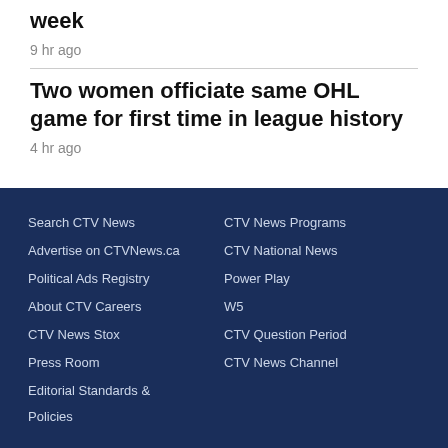week
9 hr ago
Two women officiate same OHL game for first time in league history
4 hr ago
Search CTV News | Advertise on CTVNews.ca | Political Ads Registry | About CTV Careers | CTV News Stox | Press Room | Editorial Standards & Policies | CTV News Programs | CTV National News | Power Play | W5 | CTV Question Period | CTV News Channel